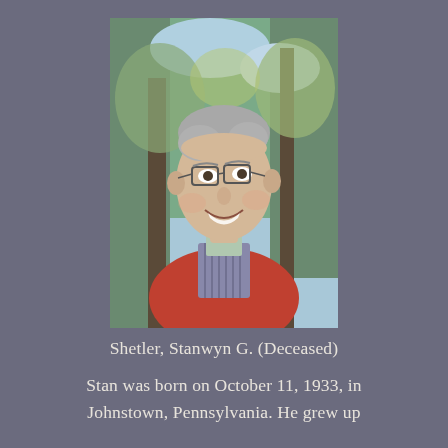[Figure (photo): Portrait photo of an older man with gray hair and glasses, smiling, wearing a red jacket over a plaid shirt, with trees in the background.]
Shetler, Stanwyn G. (Deceased)
Stan was born on October 11, 1933, in Johnstown, Pennsylvania. He grew up